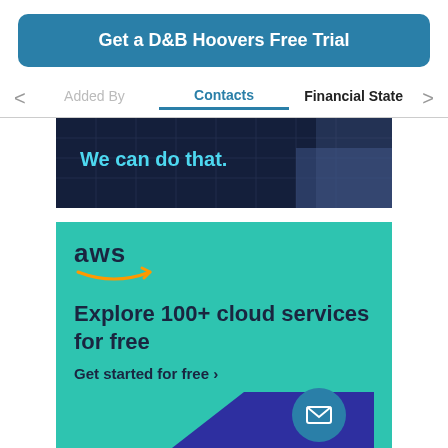Get a D&B Hoovers Free Trial
< Added By   Contacts   Financial State >
[Figure (photo): Dark building/architecture photo with teal text 'We can do that.']
[Figure (infographic): AWS advertisement on teal background with logo, headline 'Explore 100+ cloud services for free', CTA 'Get started for free >', email icon circle, and dark navy corner block]